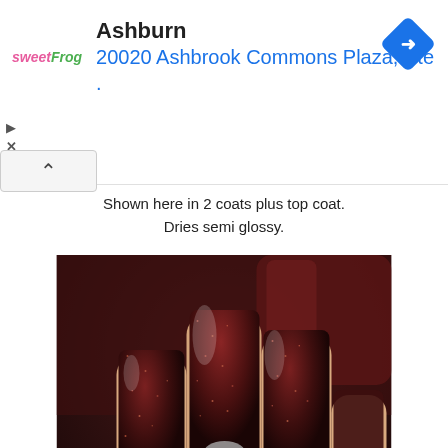[Figure (screenshot): Ad banner for Sweet Frog showing location: Ashburn, 20020 Ashbrook Commons Plaza, Ste. with navigation arrow icon]
Shown here in 2 coats plus top coat.
Dries semi glossy.
[Figure (photo): Close-up photo of dark reddish-brown glittery nail polish on square nails with silver foil accents, with watermark #CDBNAILS103 CDBNAILS.COM]